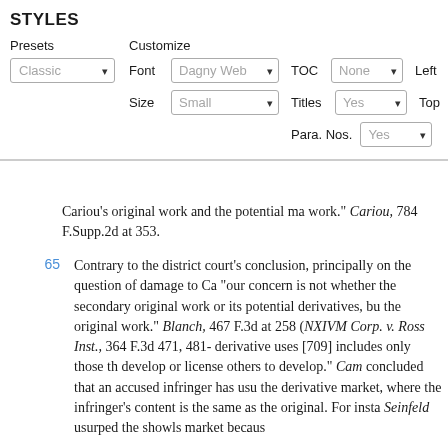STYLES
[Figure (screenshot): Document styles configuration panel with Presets, Customize options including Font (Dagny Web), Size (Small), TOC (None), Titles (Yes), Para. Nos. (Yes), Left (1.0in), Top (1.0in)]
Cariou's original work and the potential ma work." Cariou, 784 F.Supp.2d at 353.
65 Contrary to the district court's conclusion, principally on the question of damage to Ca "our concern is not whether the secondary original work or its potential derivatives, bu the original work." Blanch, 467 F.3d at 258 ( NXIVM Corp. v. Ross Inst., 364 F.3d 471, 481- derivative uses [709] includes only those th develop or license others to develop." Cam concluded that an accused infringer has usu the derivative market, where the infringer's content is the same as the original. For insta Seinfeld usurped the showls market becaus